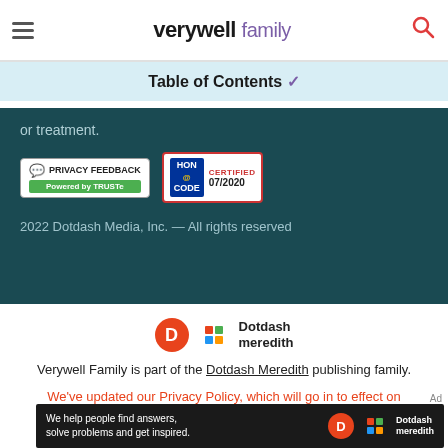verywell family
Table of Contents ✓
or treatment.
[Figure (logo): Privacy Feedback badge powered by TRUSTe and HON Code Certified 07/2020 badge]
2022 Dotdash Media, Inc. — All rights reserved
[Figure (logo): Dotdash Meredith logo with orange D circle and colorful mosaic icon]
Verywell Family is part of the Dotdash Meredith publishing family.
We've updated our Privacy Policy, which will go in to effect on September 1, 2022. Check it out here
[Figure (screenshot): Dotdash Meredith advertisement banner: We help people find answers, solve problems and get inspired.]